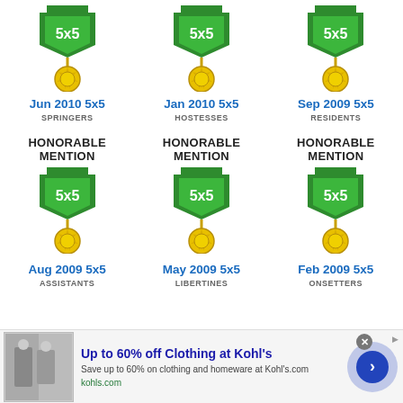[Figure (illustration): Medal badge icon with green shield labeled 5x5 and gold starburst medallion - Jun 2010 5x5]
Jun 2010 5x5
SPRINGERS
[Figure (illustration): Medal badge icon with green shield labeled 5x5 and gold starburst medallion - Jan 2010 5x5]
Jan 2010 5x5
HOSTESSES
[Figure (illustration): Medal badge icon with green shield labeled 5x5 and gold starburst medallion - Sep 2009 5x5]
Sep 2009 5x5
RESIDENTS
HONORABLE MENTION
[Figure (illustration): Medal badge icon with green shield labeled 5x5 and gold starburst medallion - Aug 2009 5x5]
Aug 2009 5x5
ASSISTANTS
HONORABLE MENTION
[Figure (illustration): Medal badge icon with green shield labeled 5x5 and gold starburst medallion - May 2009 5x5]
May 2009 5x5
LIBERTINES
HONORABLE MENTION
[Figure (illustration): Medal badge icon with green shield labeled 5x5 and gold starburst medallion - Feb 2009 5x5]
Feb 2009 5x5
ONSETTERS
Up to 60% off Clothing at Kohl's
Save up to 60% on clothing and homeware at Kohl's.com
kohls.com